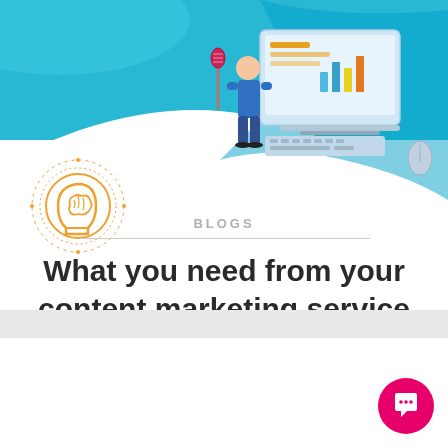[Figure (illustration): Hero banner with blue/teal wave background and isometric illustration of a person standing next to a large digital monitor/laptop displaying charts and data, with a microphone, representing digital content marketing]
[Figure (illustration): Orange circular icon depicting a human head profile with a brain visible inside, surrounded by dotted circular rings, representing intelligence or content strategy]
BLOGS
What you need from your content marketing service
[Figure (illustration): Pink/magenta circular chat bubble icon in the bottom-right corner, representing a chat or messaging widget]